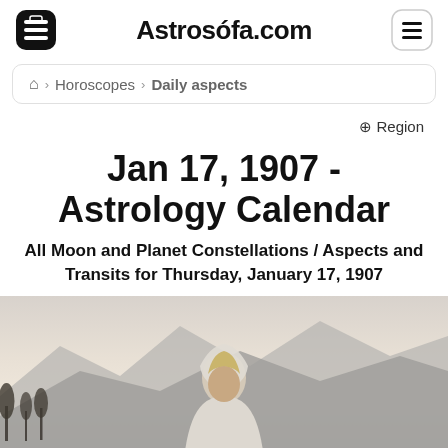Astrosofa.com
Home > Horoscopes > Daily aspects
Region
Jan 17, 1907 - Astrology Calendar
All Moon and Planet Constellations / Aspects and Transits for Thursday, January 17, 1907
[Figure (photo): Person wearing a white hoodie standing in front of a misty mountain landscape with bare trees]